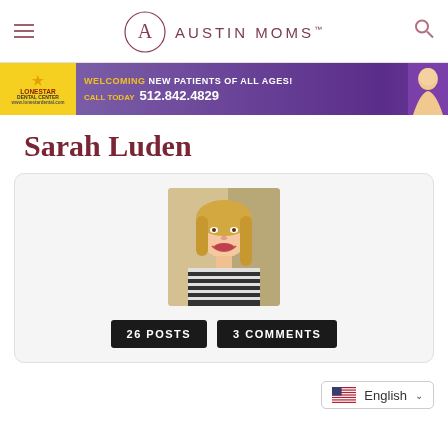AUSTIN MOMS™
[Figure (photo): Advertisement banner: Lonestar Dental center, welcoming new patients of all ages, Call Today 512.842.4829]
Sarah Luden
[Figure (photo): Profile photo of Sarah Luden, a smiling young woman with blonde hair wearing a striped top]
26 POSTS
3 COMMENTS
English